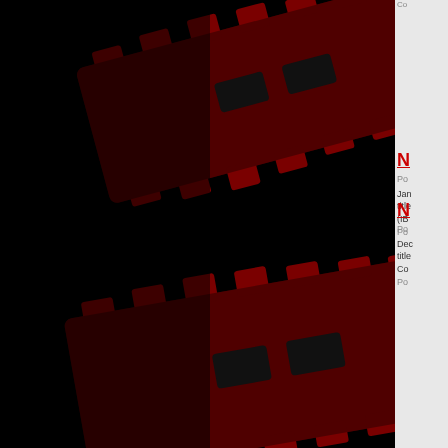[Figure (illustration): Dark background with two dark red razor blades overlapping, casting shadows. Left side of page is mostly black with the blade images.]
Co
N
Po
Jan title (IB
Po
N
Po
Dec title Co
Po